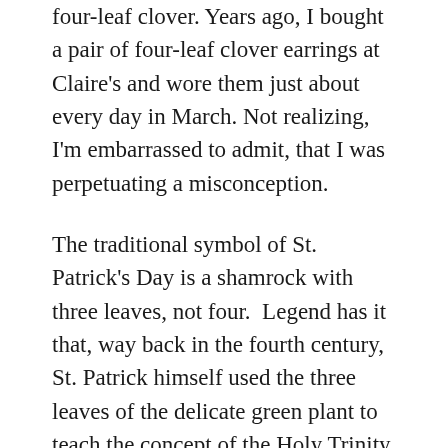four-leaf clover. Years ago, I bought a pair of four-leaf clover earrings at Claire's and wore them just about every day in March. Not realizing, I'm embarrassed to admit, that I was perpetuating a misconception.
The traditional symbol of St. Patrick's Day is a shamrock with three leaves, not four.  Legend has it that, way back in the fourth century, St. Patrick himself used the three leaves of the delicate green plant to teach the concept of the Holy Trinity.
But I still wear the earrings anyway and not just on St. Patrick's Day. They're cute and maybe even lucky. Which brings to mind thoughts of other items considered lucky. Such as: